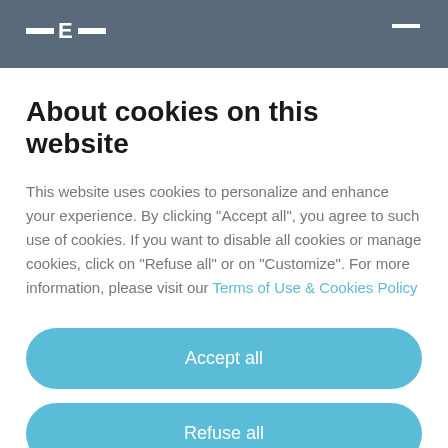[Figure (logo): Website header background with a logo featuring dashes and letter E in white on dark gray/blue background, and a hamburger menu icon top right]
About cookies on this website
This website uses cookies to personalize and enhance your experience. By clicking “Accept all”, you agree to such use of cookies. If you want to disable all cookies or manage cookies, click on “Refuse all” or on “Customize”. For more information, please visit our Terms of Use & Cookies Policy
Accept all
Refuse all
Customize